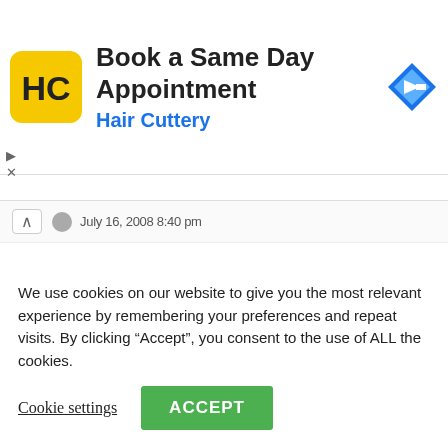[Figure (advertisement): Hair Cuttery ad with logo (HC in yellow rounded square), text 'Book a Same Day Appointment / Hair Cuttery', and blue diamond navigation arrow icon]
July 16, 2008 8:40 pm
Hey Chuck, if you’re reading this… how do you like the Rigid jointer?
➡ Reply
We use cookies on our website to give you the most relevant experience by remembering your preferences and repeat visits. By clicking “Accept”, you consent to the use of ALL the cookies.
Cookie settings   ACCEPT